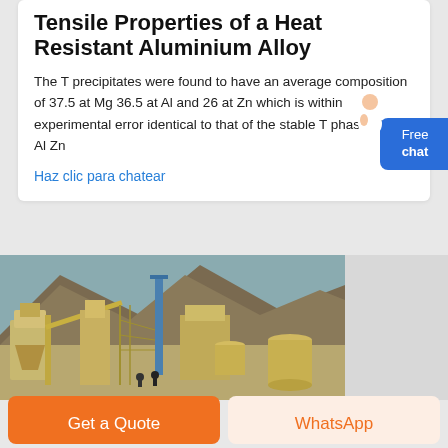Tensile Properties of a Heat Resistant Aluminium Alloy
The T precipitates were found to have an average composition of 37.5 at Mg 36.5 at Al and 26 at Zn which is within experimental error identical to that of the stable T phase Mg 32 Al Zn
Haz clic para chatear
[Figure (photo): Aerial view of an industrial mining or minerals processing facility with large yellow steel structures, conveyor systems, hoppers, and mountainous terrain in the background.]
Get a Quote
WhatsApp